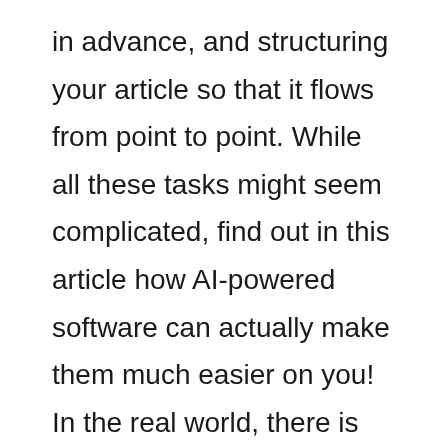in advance, and structuring your article so that it flows from point to point. While all these tasks might seem complicated, find out in this article how AI-powered software can actually make them much easier on you! In the real world, there is no shortage of complicated tasks that the human mind struggles to accomplish. As a marketer, you can use AI-powered software to make these tasks much